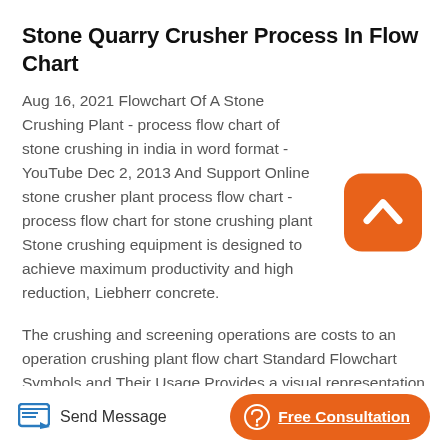Stone Quarry Crusher Process In Flow Chart
Aug 16, 2021 Flowchart Of A Stone Crushing Plant - process flow chart of stone crushing in india in word format - YouTube Dec 2, 2013 And Support Online stone crusher plant process flow chart - process flow chart for stone crushing plant Stone crushing equipment is designed to achieve maximum productivity and high reduction, Liebherr concrete.
[Figure (logo): Orange rounded square badge with a white upward chevron/caret arrow icon]
The crushing and screening operations are costs to an operation crushing plant flow chart Standard Flowchart Symbols and Their Usage Provides a visual representation of basic flowchart symbols and their proposed use in communicating the to.
Send Message   Free Consultation